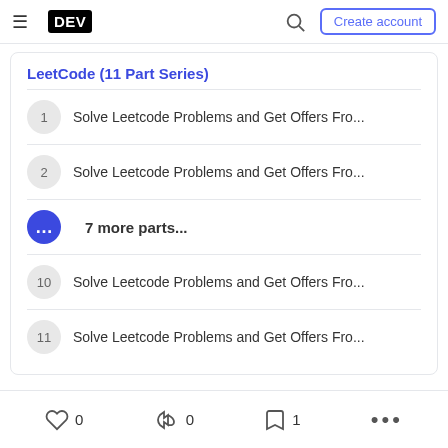DEV — Create account
LeetCode (11 Part Series)
1  Solve Leetcode Problems and Get Offers Fro...
2  Solve Leetcode Problems and Get Offers Fro...
...  7 more parts...
10  Solve Leetcode Problems and Get Offers Fro...
11  Solve Leetcode Problems and Get Offers Fro...
0  0  1  ...